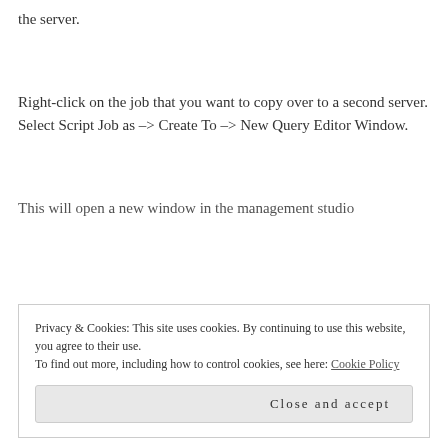the server.
Right-click on the job that you want to copy over to a second server.
Select Script Job as –> Create To –> New Query Editor Window.
This will open a new window in the management studio
Privacy & Cookies: This site uses cookies. By continuing to use this website, you agree to their use.
To find out more, including how to control cookies, see here: Cookie Policy
Close and accept